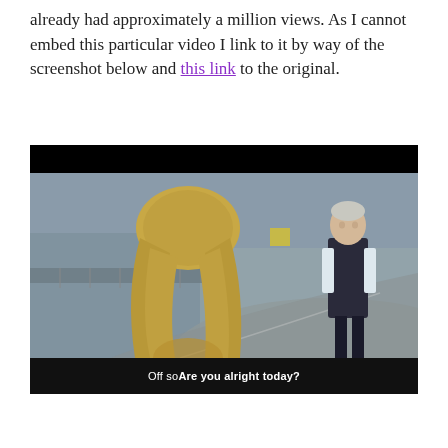already had approximately a million views. As I cannot embed this particular video I link to it by way of the screenshot below and this link to the original.
[Figure (screenshot): Screenshot of a Facebook video post from National Autistic Society showing a video still of two people on a road/street, with subtitle text 'Off so Are you alright today?' displayed at the bottom of the video player.]